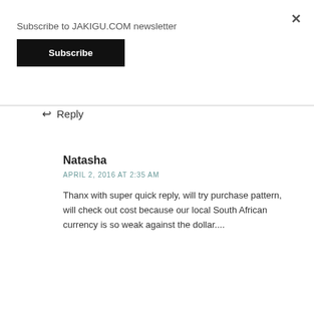Subscribe to JAKIGU.COM newsletter
Subscribe
×
Reply
Natasha
APRIL 2, 2016 AT 2:35 AM
Thanx with super quick reply, will try purchase pattern, will check out cost because our local South African currency is so weak against the dollar....